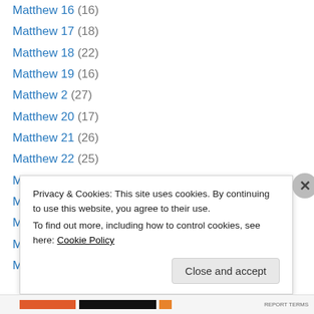Matthew 16 (16)
Matthew 17 (18)
Matthew 18 (22)
Matthew 19 (16)
Matthew 2 (27)
Matthew 20 (17)
Matthew 21 (26)
Matthew 22 (25)
Matthew 23 (20)
Matthew 24 (28)
Matthew 25 (48)
Matthew 26 (24)
Matthew 27 (21)
Privacy & Cookies: This site uses cookies. By continuing to use this website, you agree to their use.
To find out more, including how to control cookies, see here: Cookie Policy
Close and accept